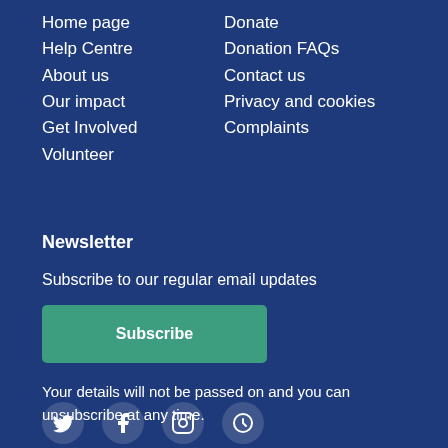Home page
Help Centre
About us
Our impact
Get Involved
Volunteer
Donate
Donation FAQs
Contact us
Privacy and cookies
Complaints
Newsletter
Subscribe to our regular email updates
Subscribe
Your details will not be passed on and you can unsubscribe at any time.
[Figure (illustration): Social media icons row: Twitter, Facebook, Instagram, and one more icon]